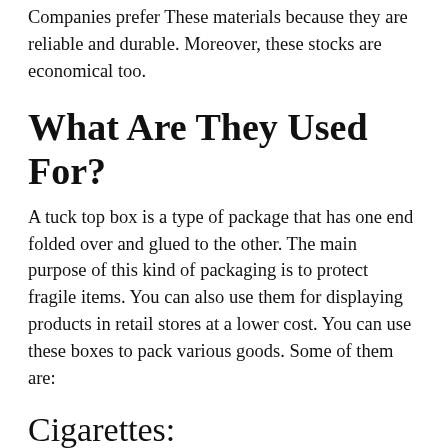Companies prefer These materials because they are reliable and durable. Moreover, these stocks are economical too.
What Are They Used For?
A tuck top box is a type of package that has one end folded over and glued to the other. The main purpose of this kind of packaging is to protect fragile items. You can also use them for displaying products in retail stores at a lower cost. You can use these boxes to pack various goods. Some of them are:
Cigarettes:
These packaging boxes are the best option to pack cigarettes. These cigarettebox packagings come in various colors and sizes. These style of these boxes keep the cigarettes intact within the packaging. It also